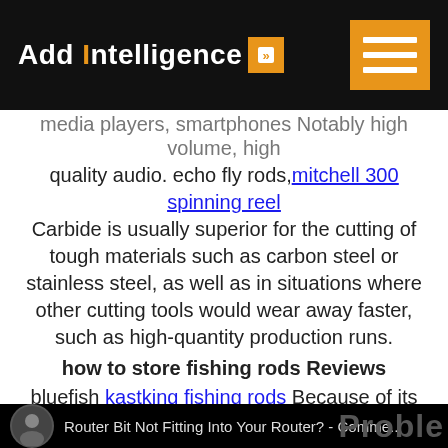Add Intelligence
media players, smartphones Notably high volume, high quality audio. echo fly rods, mitchell 300 spinning reel Carbide is usually superior for the cutting of tough materials such as carbon steel or stainless steel, as well as in situations where other cutting tools would wear away faster, such as high-quantity production runs.
how to store fishing rods Reviews
bluefish kastking fishing rods Because of its excellent contrast ratio, however, the VPL-VW325ES still blows away brighter PJs like the Epson 5050UB, but you need total light control in your room. how to store fishing rods, okuma ceymar c25 Perhaps as a result, recycling of tungsten, including tungsten carbide, is on the rise.
Router Bit Not Fitting Into Your Router? - Comme...